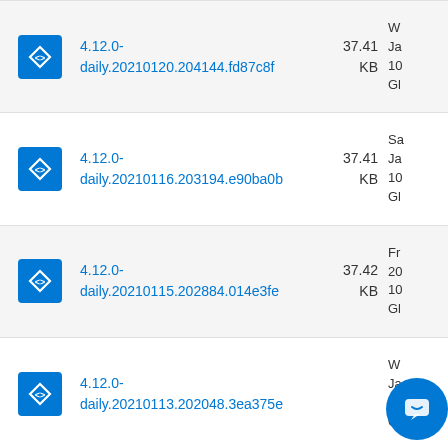4.12.0-daily.20210120.204144.fd87c8f 37.41 KB Wednesday January 10 G...
4.12.0-daily.20210116.203194.e90ba0b 37.41 KB Saturday January 10 G...
4.12.0-daily.20210115.202884.014e3fe 37.42 KB Friday 20 10 G...
4.12.0-daily.20210113.202048.3ea375e KB Wednesday January 11... G...